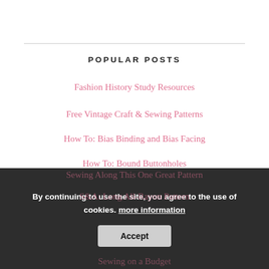POPULAR POSTS
Fashion History Study Resources
Free Vintage Craft & Sewing Patterns
How To: Bias Binding and Bias Facing
How To: Bound Buttonholes
How To: French Seams
How To: Lace Insertion & Heirloom Sewing
Research: Extant Garments
Sewing Along This One Great Pattern
S&A: Long All-Rayon Pattern
Sewing on a Budget
By continuing to use the site, you agree to the use of cookies. more information Accept